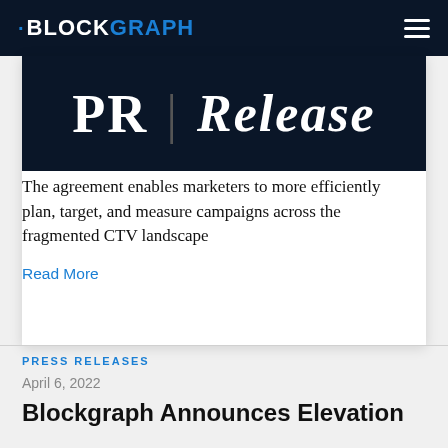BLOCKGRAPH
[Figure (screenshot): Dark navy banner showing 'PR | Release' text in large serif font, partial view of a press release image]
The agreement enables marketers to more efficiently plan, target, and measure campaigns across the fragmented CTV landscape
Read More
PRESS RELEASES
April 6, 2022
Blockgraph Announces Elevation